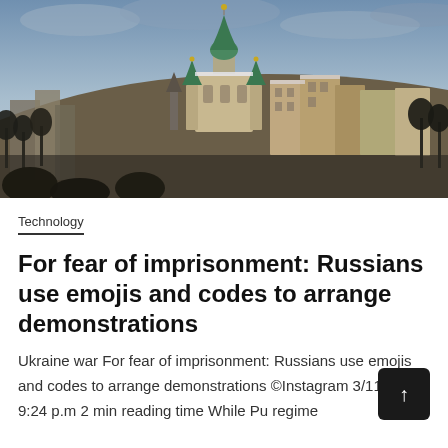[Figure (photo): Panoramic view of Kyiv cityscape with ornate Orthodox church with green and gold domes on a hilltop, surrounded by historic buildings and bare winter trees under a cloudy blue-grey sky.]
Technology
For fear of imprisonment: Russians use emojis and codes to arrange demonstrations
Ukraine war For fear of imprisonment: Russians use emojis and codes to arrange demonstrations ©Instagram 3/11/2022, 9:24 p.m 2 min reading time While Pu regime